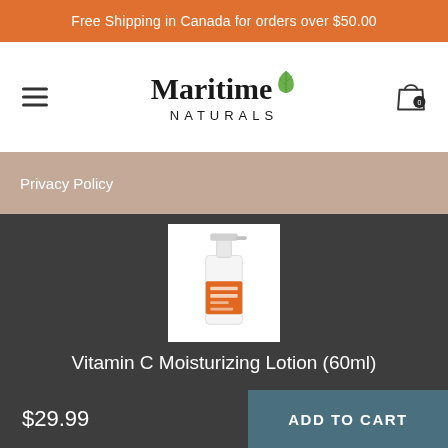Free Shipping in Canada for orders over $50.00
[Figure (logo): Maritime Naturals logo with green leaf and hamburger menu icon and shopping cart icon showing 0 items]
Privacy Policy
[Figure (photo): Vitamin C Moisturizing Lotion 60ml product bottle with pump dispenser, white bottle with orange label]
Vitamin C Moisturizing Lotion (60ml)
$29.99
ADD TO CART